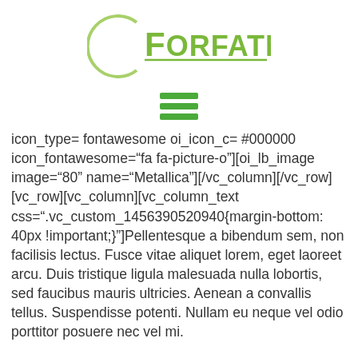[Figure (logo): Forfatningspartiet logo — a thin green circle arc on the left with green text reading FORFATNINGSPARTIET with underline]
[Figure (other): Hamburger menu icon — three horizontal green lines]
icon_type= fontawesome oi_icon_c= #000000 icon_fontawesome="fa fa-picture-o"][oi_lb_image image="80" name="Metallica"][/vc_column][/vc_row][vc_row][vc_column][vc_column_text css=".vc_custom_1456390520940{margin-bottom: 40px !important;}"]Pellentesque a bibendum sem, non facilisis lectus. Fusce vitae aliquet lorem, eget laoreet arcu. Duis tristique ligula malesuada nulla lobortis, sed faucibus mauris ultricies. Aenean a convallis tellus. Suspendisse potenti. Nullam eu neque vel odio porttitor posuere nec vel mi.